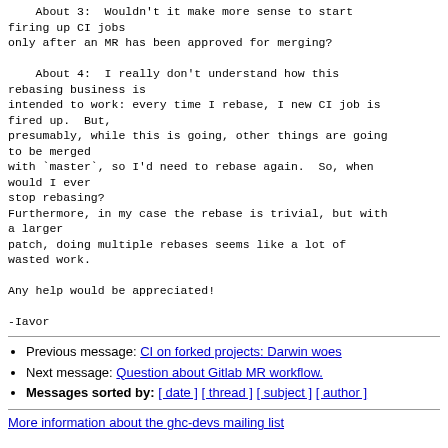About 3:  Wouldn't it make more sense to start firing up CI jobs
only after an MR has been approved for merging?

    About 4:  I really don't understand how this rebasing business is
intended to work: every time I rebase, I new CI job is fired up.  But,
presumably, while this is going, other things are going to be merged
with `master`, so I'd need to rebase again.  So, when would I ever
stop rebasing?
Furthermore, in my case the rebase is trivial, but with a larger
patch, doing multiple rebases seems like a lot of wasted work.

Any help would be appreciated!

-Iavor
Previous message: CI on forked projects: Darwin woes
Next message: Question about Gitlab MR workflow.
Messages sorted by: [ date ] [ thread ] [ subject ] [ author ]
More information about the ghc-devs mailing list